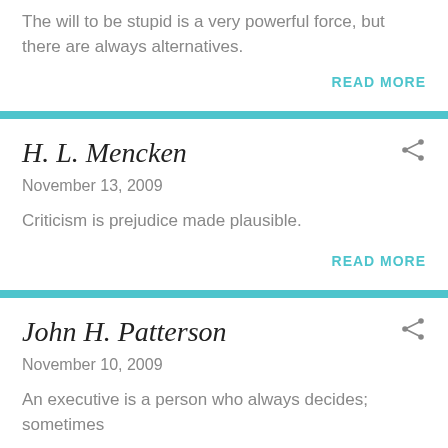The will to be stupid is a very powerful force, but there are always alternatives.
READ MORE
H. L. Mencken
November 13, 2009
Criticism is prejudice made plausible.
READ MORE
John H. Patterson
November 10, 2009
An executive is a person who always decides; sometimes